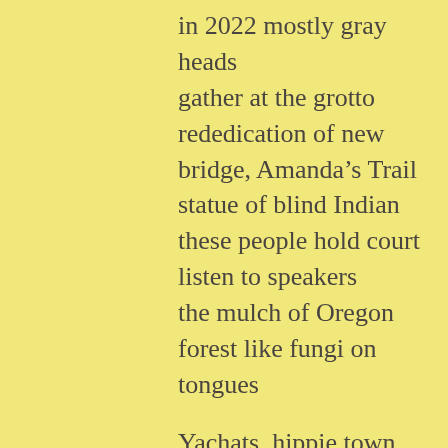in 2022 mostly gray heads
gather at the grotto
rededication of new
bridge, Amanda’s Trail
statue of blind Indian
these people hold court
listen to speakers
the mulch of Oregon
forest like fungi on tongues

Yachats, hippie town
tears of Umpqua, Coos, Siletz, Alsi
forever there, a mist
a new rainbow each time
a new visitor hikes hoping
Amanda’s song is caught
in his fisher…